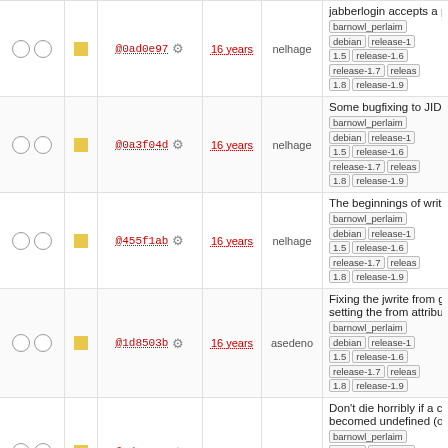|  |  | commit | age | author | description |
| --- | --- | --- | --- | --- | --- |
| ○ ○ | □ | @0ad0e97 | 16 years | nelhage | jabberlogin accepts a passwo... barnowl_perlaim debian release-1.5 release-1.6 release-1.7 release-1.8 release-1.9 |
| ○ ○ | □ | @0a3f04d | 16 years | nelhage | Some bugfixing to JID guessing... barnowl_perlaim debian release-1.5 release-1.6 release-1.7 release-1.8 release-1.9 |
| ○ ○ | □ | @455f1ab | 16 years | nelhage | The beginnings of writing to sho... barnowl_perlaim debian release-1.5 release-1.6 release-1.7 release-1.8 release-1.9 |
| ○ ○ | □ | @1d8503b | 16 years | asedeno | Fixing the jwrite from gtalk bug setting the from attribute ... barnowl_perlaim debian release-1.5 release-1.6 release-1.7 release-1.8 release-1.9 |
| ○ ○ | □ | @2d423e9 | 16 years | nelhage | Don't die horribly if a connection becomed undefined (often due ... barnowl_perlaim debian release-1.5 release-1.6 release-1.7 release-1.8 release-1.9 |
| ○ ○ | □ | @6837096 | 16 years | asedeno | Sometimes there is no current n such as when jmuc join is run ... barnowl_perlaim debian release-1.5 release-1.6 release-1.7 release-1.8 release-1.9 |
| ○ ○ | □ | @7f792c1 | 16 years | asedeno | * Added idle-time tracking in C. idle-time tracking to perl. ... barnowl_perlaim debian release-1.5 release-1.6 release-1.7 release-1.8 release-1.9 |
| ○ ○ | □ |  | 16 years |  | I didn't mean to check in this ch... |